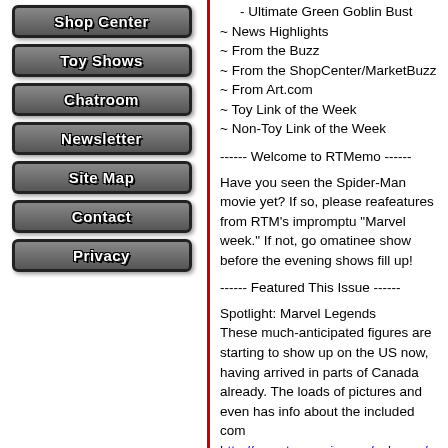- Ultimate Green Goblin Bust
~ News Highlights
~ From the Buzz
~ From the ShopCenter/MarketBuzz
~ From Art.com
~ Toy Link of the Week
~ Non-Toy Link of the Week
------ Welcome to RTMemo ------
Have you seen the Spider-Man movie yet? If so, please read features from RTM's impromptu "Marvel week." If not, go out to a matinee show before the evening shows fill up!
------ Featured This Issue ------
Spotlight: Marvel Legends
These much-anticipated figures are starting to show up on the US now, having arrived in parts of Canada already. The loads of pictures and even has info about the included com http://www.toymania.com/columns/spotlight/mlegends.shtm
Feature: Marvel HeroClix
The Marvel HeroClix are another much-awaited product line last week. Ogle the pictures, print the checklist, learn how t about the future of the game: http://toymania.com/features/heroclix.shtml
RTMisc: Ultimate Spider-Man Bust
RTMisc reviews the Ultimate Spidey bust from Diamond Se http://www.toymania.com/columns/rtmisc/dsultspidey.shtm